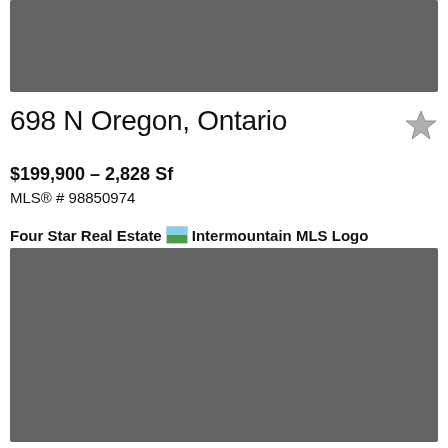[Figure (photo): Top gray placeholder image banner]
698 N Oregon, Ontario
$199,900 - 2,828 Sf
MLS® # 98850974
Four Star Real Estate Intermountain MLS Logo
[Figure (photo): Bottom large gray placeholder image]